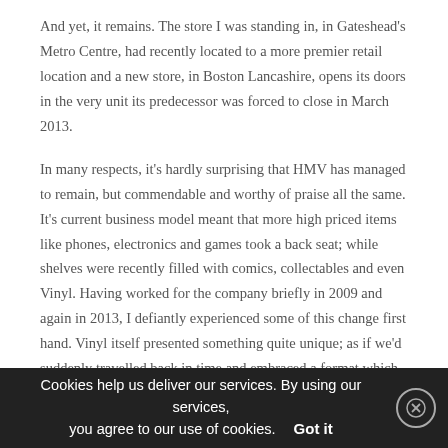And yet, it remains. The store I was standing in, in Gateshead's Metro Centre, had recently located to a more premier retail location and a new store, in Boston Lancashire, opens its doors in the very unit its predecessor was forced to close in March 2013.
In many respects, it's hardly surprising that HMV has managed to remain, but commendable and worthy of praise all the same. It's current business model meant that more high priced items like phones, electronics and games took a back seat; while shelves were recently filled with comics, collectables and even Vinyl. Having worked for the company briefly in 2009 and again in 2013, I defiantly experienced some of this change first hand. Vinyl itself presented something quite unique; as if we'd suddenly travelled back in time and embraced a format which should – by all rights – be
Cookies help us deliver our services. By using our services, you agree to our use of cookies. Got it